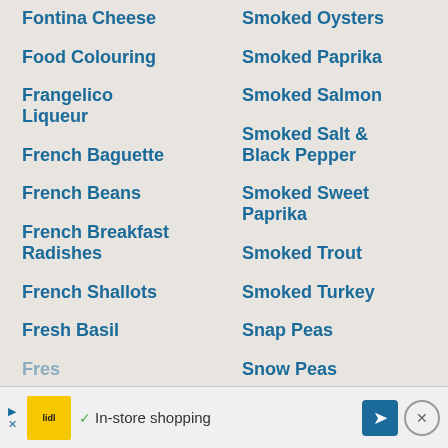Fontina Cheese
Food Colouring
Frangelico Liqueur
French Baguette
French Beans
French Breakfast Radishes
French Shallots
Fresh Basil
Smoked Oysters
Smoked Paprika
Smoked Salmon
Smoked Salt & Black Pepper
Smoked Sweet Paprika
Smoked Trout
Smoked Turkey
Snap Peas
Snow Peas